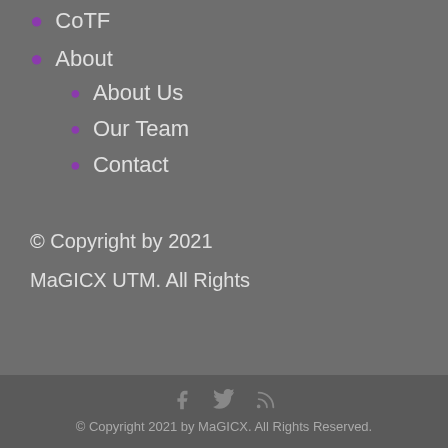CoTF
About
About Us
Our Team
Contact
© Copyright by 2021
MaGICX UTM. All Rights
© Copyright 2021 by MaGICX. All Rights Reserved.